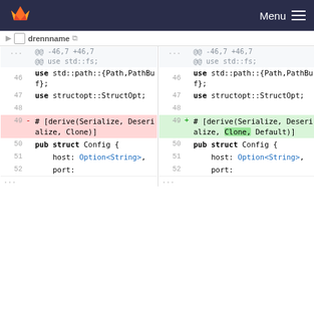GitLab — Menu
drennname [icon]
[Figure (screenshot): Side-by-side code diff view showing Rust source file. Left panel (old) and right panel (new) display line numbers and code. Lines 46-48 show 'use std::path::{Path,PathBuf};' and 'use structopt::StructOpt;'. Line 49 is removed (red) on left: '# [derive(Serialize, Deserialize, Clone)]' and added (green) on right: '# [derive(Serialize, Deserialize, Clone, Default)]' with 'Default' highlighted. Lines 50-52 show 'pub struct Config {' and 'host: Option<String>,' and 'port:'.]